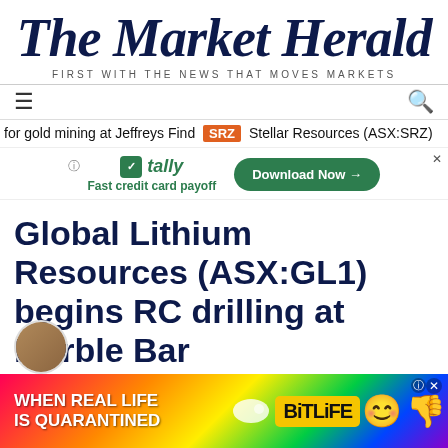The Market Herald
FIRST WITH THE NEWS THAT MOVES MARKETS
for gold mining at Jeffreys Find  SRZ  Stellar Resources (ASX:SRZ)
[Figure (screenshot): Tally advertisement banner: Fast credit card payoff, Download Now button]
Global Lithium Resources (ASX:GL1) begins RC drilling at Marble Bar
Mining
ASX:GL1   MCAP $383.1M
[Figure (screenshot): BitLife advertisement: WHEN REAL LIFE IS QUARANTINED with colorful rainbow background and emoji characters]